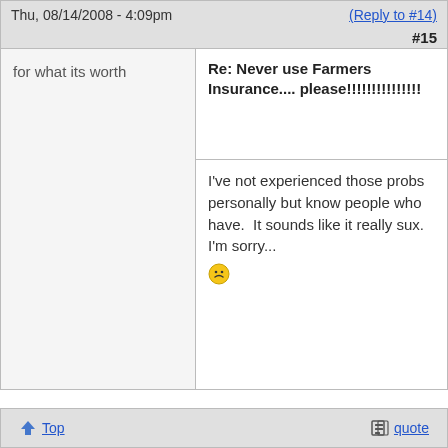Thu, 08/14/2008 - 4:09pm   (Reply to #14)
#15
for what its worth
Re: Never use Farmers Insurance.... please!!!!!!!!!!!!!
I've not experienced those probs personally but know people who have.  It sounds like it really sux.  I'm sorry...
Top   quote